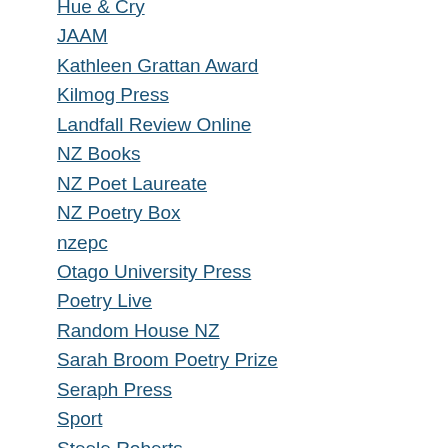Hue & Cry
JAAM
Kathleen Grattan Award
Kilmog Press
Landfall Review Online
NZ Books
NZ Poet Laureate
NZ Poetry Box
nzepc
Otago University Press
Poetry Live
Random House NZ
Sarah Broom Poetry Prize
Seraph Press
Sport
Steele Roberts
Takahe
Titus Books
Trout